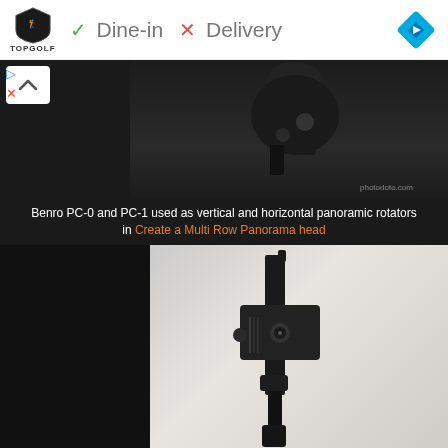[Figure (screenshot): Ad banner with Topgolf logo, checkmark Dine-in, X Delivery text, and blue navigation diamond icon]
[Figure (photo): Close-up of a camera panoramic rotator ball head mounted on a tripod against dark background, with caption about Benro PC-0 and PC-1]
Benro PC-0 and PC-1 used as vertical and horizontal panoramic rotators in Create a Multi Row Panorama head
[Figure (photo): Close-up photo of a black camera L-bracket or mounting rail on a tripod against a light gray/white blurred background]